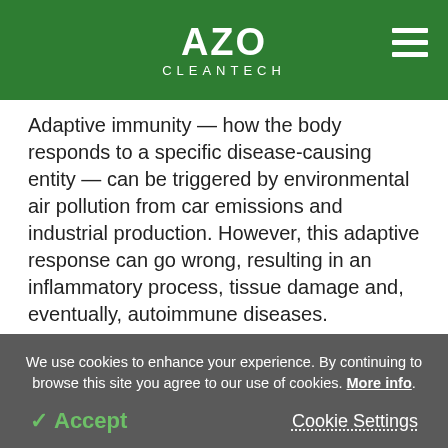AZO CLEANTECH
Adaptive immunity — how the body responds to a specific disease-causing entity — can be triggered by environmental air pollution from car emissions and industrial production. However, this adaptive response can go wrong, resulting in an inflammatory process, tissue damage and, eventually, autoimmune diseases.
Rheumatoid arthritis, systemic lupus erythematosus,
We use cookies to enhance your experience. By continuing to browse this site you agree to our use of cookies. More info.
✓ Accept   Cookie Settings